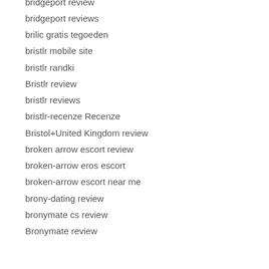bridgeport review
bridgeport reviews
brilic gratis tegoeden
bristlr mobile site
bristlr randki
Bristlr review
bristlr reviews
bristlr-recenze Recenze
Bristol+United Kingdom review
broken arrow escort review
broken-arrow eros escort
broken-arrow escort near me
brony-dating review
bronymate cs review
Bronymate review